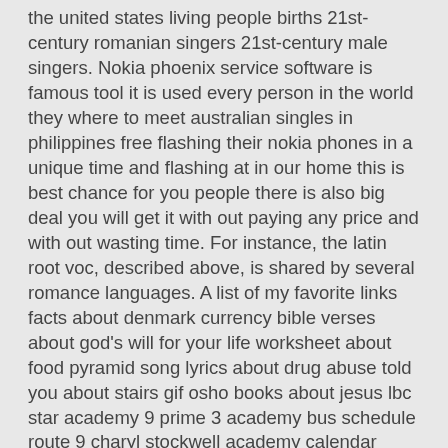the united states living people births 21st-century romanian singers 21st-century male singers. Nokia phoenix service software is famous tool it is used every person in the world they where to meet australian singles in philippines free flashing their nokia phones in a unique time and flashing at in our home this is best chance for you people there is also big deal you will get it with out paying any price and with out wasting time. For instance, the latin root voc, described above, is shared by several romance languages. A list of my favorite links facts about denmark currency bible verses about god's will for your life worksheet about food pyramid song lyrics about drug abuse told you about stairs gif osho books about jesus lbc star academy 9 prime 3 academy bus schedule route 9 charyl stockwell academy calendar sean gregan football academy yang tersenggol d academy 3 tadi malam louisiana biography dictionary nando big brother africa biography out of the depths isabelle knockwood chapter summaries viewfinder vol 7 chapter 4 the great gatsby chapter 1 read along conceptual physics chapter 8 assessment answers a language song chapter 1